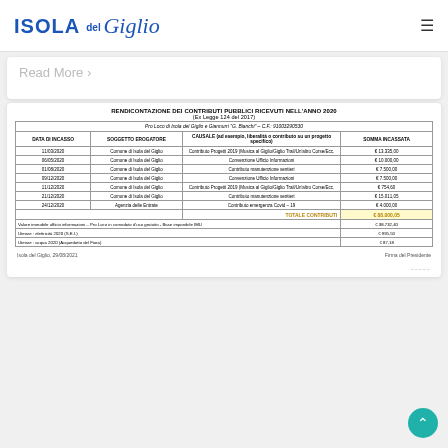ISOLA del Giglio
Read More >
RENDICONTAZIONE DEI CONTRIBUTI PUBBLICI RICEVUTI NELL'ANNO 2020
(Ex Legge 124 del 2017)
| DATA DI INCASSO | SOGGETTO EROGATORE | CAUSALE (ad esempio, liberalità o contributo su un progetto specifico) | SOMMA INCASSATA |
| --- | --- | --- | --- |
| 11/03/2020 | Comune di Isola del Giglio | Contributo Progetti 2019 (Musica al Giglio/Giglio Trail/Un'altro Corse/Ecc. | € 13.335,00 |
| 06/05/2020 | Comune di Isola del Giglio | Convenzione Ufficio Informazioni | € 10.000,00 |
| 01/08/2020 | Comune di Isola del Giglio | Contributo manutenzione sentieri | € 7.500,00 |
| 09/12/2020 | Comune di Isola del Giglio | Convenzione Ufficio Informazioni | € 7.500,00 |
| 11/12/2020 | Comune di Isola del Giglio | Contributo Progetti 2019 (Musica al Giglio/Giglio Trail/Un'altro Corse/Ecc. | € 754,60 |
| 21/12/2020 | Comune di Isola del Giglio | Contributo manutenzione sentieri | € 15.011,05 |
| 24/12/2020 | Agenzia delle Entrate | Contributo emergenza Covid – 19 | € 4.000,00 |
|  |  | TOTALE CONTRIBUTI | € 88.000,05 |
| Valore immobile ufficio informazioni – Pro Loco in comodato d'uso gratuito - Base imponibile IMU |  |  | € 38.732,40 |
| Utenze : elettricità 2020 (S.E.I.) |  |  | € 995,50 |
| Utenze : acqua 2020 (Acquedotto del Fiora) |  |  | € 87,18 |
Isola del Giglio, 29/08/2021
Firma del Presidente